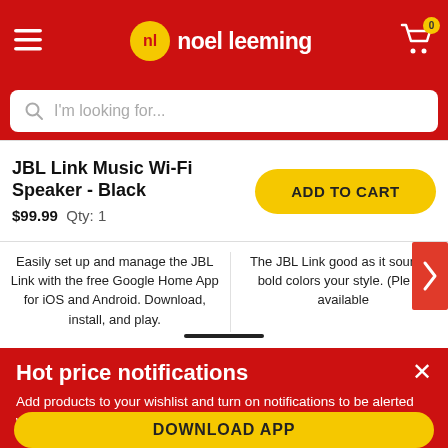[Figure (screenshot): Noel Leeming retail website header with red background, hamburger menu icon, Noel Leeming logo (yellow circle with 'nl' and white text), and shopping cart icon with badge '0']
I'm looking for...
JBL Link Music Wi-Fi Speaker - Black
$99.99   Qty: 1
ADD TO CART
Easily set up and manage the JBL Link with the free Google Home App for iOS and Android. Download, install, and play.
The JBL Link good as it soun six bold colors your style. (Ple for available
Hot price notifications
Add products to your wishlist and turn on notifications to be alerted when they are on special
DOWNLOAD APP